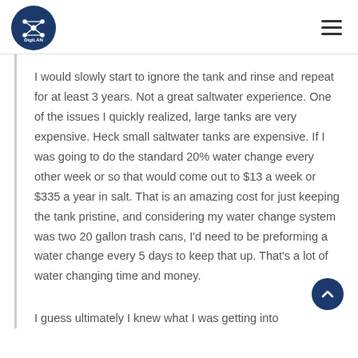DigiLAN
I would slowly start to ignore the tank and rinse and repeat for at least 3 years. Not a great saltwater experience. One of the issues I quickly realized, large tanks are very expensive. Heck small saltwater tanks are expensive. If I was going to do the standard 20% water change every other week or so that would come out to $13 a week or $335 a year in salt. That is an amazing cost for just keeping the tank pristine, and considering my water change system was two 20 gallon trash cans, I'd need to be preforming a water change every 5 days to keep that up. That's a lot of water changing time and money.
I guess ultimately I knew what I was getting into